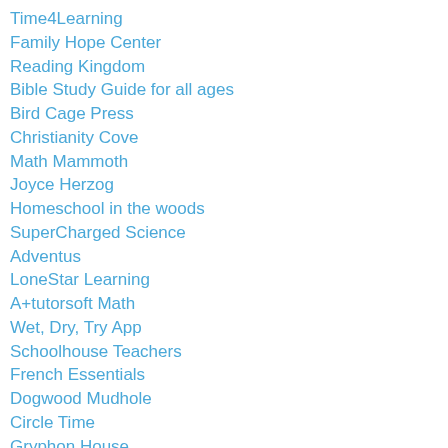Time4Learning
Family Hope Center
Reading Kingdom
Bible Study Guide for all ages
Bird Cage Press
Christianity Cove
Math Mammoth
Joyce Herzog
Homeschool in the woods
SuperCharged Science
Adventus
LoneStar Learning
A+tutorsoft Math
Wet, Dry, Try App
Schoolhouse Teachers
French Essentials
Dogwood Mudhole
Circle Time
Gryphon House
Essentials in Writing